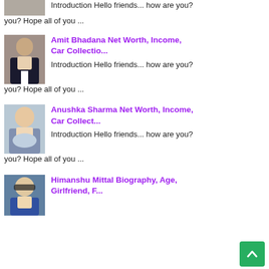Introduction Hello friends... how are you? Hope all of you ...
[Figure (photo): Photo of Amit Bhadana standing in a room wearing a suit]
Amit Bhadana Net Worth, Income, Car Collectio...
Introduction Hello friends... how are you? Hope all of you ...
[Figure (photo): Photo of Anushka Sharma eating at a table]
Anushka Sharma Net Worth, Income, Car Collect...
Introduction Hello friends... how are you? Hope all of you ...
[Figure (photo): Photo of Himanshu Mittal wearing glasses]
Himanshu Mittal Biography, Age, Girlfriend, F...